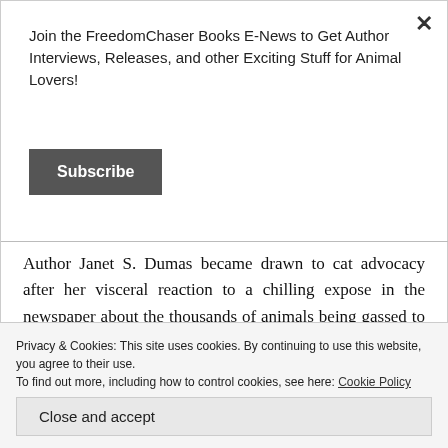Join the FreedomChaser Books E-News to Get Author Interviews, Releases, and other Exciting Stuff for Animal Lovers!
Subscribe
Author Janet S. Dumas became drawn to cat advocacy after her visceral reaction to a chilling expose in the newspaper about the thousands of animals being gassed to death each year by the City of San Antonio, Texas. She knew she had to take action, thus beginning her adventures into the world of Trap-Neuter-Return
Privacy & Cookies: This site uses cookies. By continuing to use this website, you agree to their use.
To find out more, including how to control cookies, see here: Cookie Policy
Close and accept